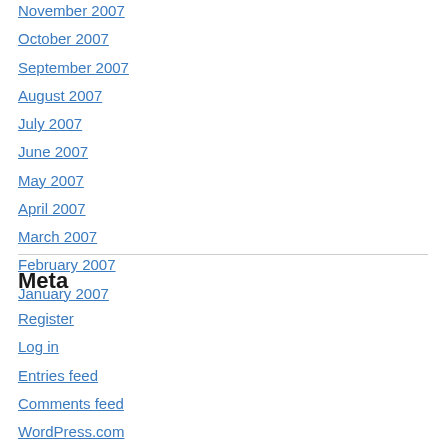November 2007
October 2007
September 2007
August 2007
July 2007
June 2007
May 2007
April 2007
March 2007
February 2007
January 2007
Meta
Register
Log in
Entries feed
Comments feed
WordPress.com